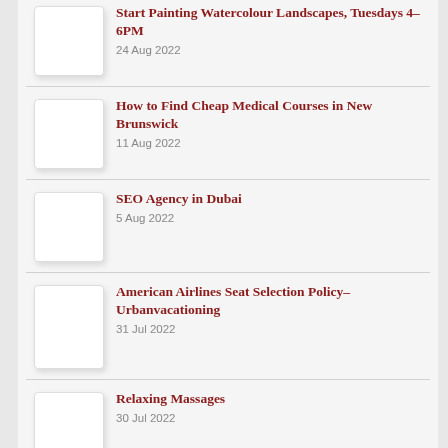Start Painting Watercolour Landscapes, Tuesdays 4-6PM
24 Aug 2022
How to Find Cheap Medical Courses in New Brunswick
11 Aug 2022
SEO Agency in Dubai
5 Aug 2022
American Airlines Seat Selection Policy-Urbanvacationing
31 Jul 2022
Relaxing Massages
30 Jul 2022